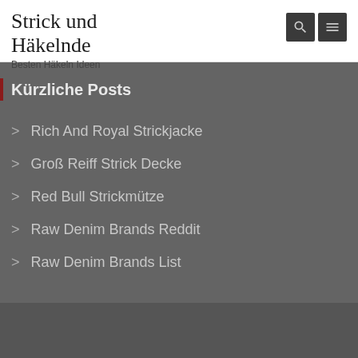Strick und Häkelnde
Besten Häkeln Ideen
Kürzliche Posts
Rich And Royal Strickjacke
Groß Reiff Strick Decke
Red Bull Strickmütze
Raw Denim Brands Reddit
Raw Denim Brands List
Strick und Hakelnde © All Right Reserved 2018